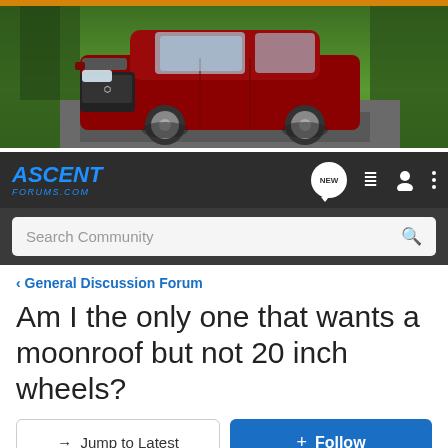[Figure (photo): Red Subaru Ascent SUV driving on a road surrounded by green trees, motion blur on background suggesting speed.]
ASCENT FORUMS.COM
< General Discussion Forum
Am I the only one that wants a moonroof but not 20 inch wheels?
→ Jump to Latest | + Follow
1 - 20 of 31 Posts
1 of 2 ▶